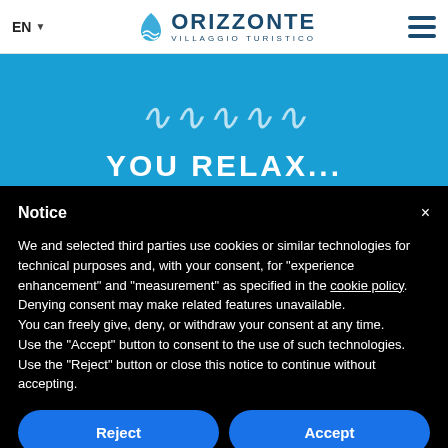EN | ORIZZONTE VILLAGGIO TURISTICO
[Figure (screenshot): Blue banner with wave decoration and text 'YOU RELAX...' on a sky-blue background]
Notice
We and selected third parties use cookies or similar technologies for technical purposes and, with your consent, for “experience enhancement” and “measurement” as specified in the cookie policy. Denying consent may make related features unavailable.
You can freely give, deny, or withdraw your consent at any time.
Use the “Accept” button to consent to the use of such technologies. Use the “Reject” button or close this notice to continue without accepting.
Reject
Accept
Learn more and customize